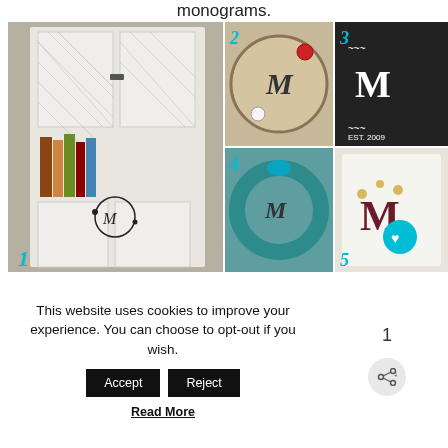monograms.
[Figure (photo): Collage of 5 DIY monogram craft projects numbered 1-5: 1) White painted hutch with floral M monogram stencil, 2) Embroidery hoop with M monogram on burlap with buttons, 3) Dark slate/chalkboard with decorative white M monogram EST 2009, 4) Teal yarn-wrapped wreath with M monogram charm, 5) White pillow with decorative M monogram in dark red/maroon with floral accents]
This website uses cookies to improve your experience. You can choose to opt-out if you wish.
Accept
Reject
Read More
1